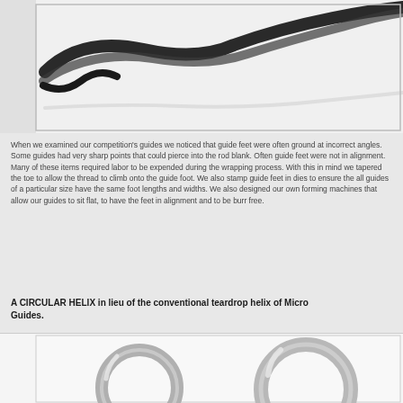[Figure (photo): Close-up photograph of dark metal fishing rod guide feet on a white/grey background, showing the tapered metal strips used to attach guides to rod blanks.]
When we examined our competition's guides we noticed that guide feet were often ground at incorrect angles. Some guides had very sharp points that could pierce into the rod blank. Often guide feet were not in alignment. Many of these items required labor to be expended during the wrapping process. With this in mind we tapered the toe to allow the thread to climb onto the guide foot. We also stamp guide feet in dies to ensure the all guides of a particular size have the same foot lengths and widths. We also designed our own forming machines that allow our guides to sit flat, to have the feet in alignment and to be burr free.
A CIRCULAR HELIX in lieu of the conventional teardrop helix of Micro Guides.
[Figure (photo): Photograph showing two circular metal guide rings (helix rings) of different sizes, silver/chrome colored, on a white background. The rings demonstrate circular helix design versus conventional teardrop helix.]